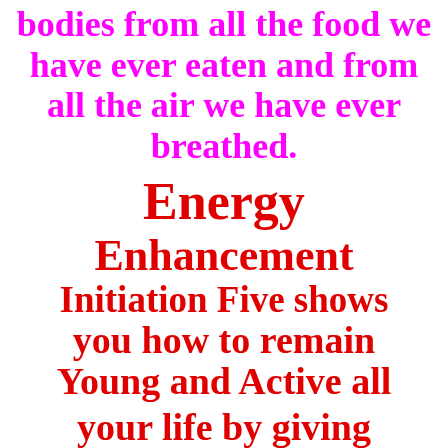bodies from all the food we have ever eaten and from all the air we have ever breathed.
Energy Enhancement Initiation Five shows you how to remain Young and Active all your life by giving